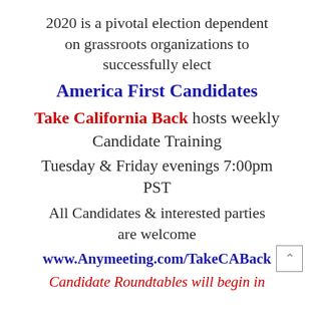2020 is a pivotal election dependent on grassroots organizations to successfully elect
America First Candidates
Take California Back hosts weekly
Candidate Training
Tuesday & Friday evenings 7:00pm PST
All Candidates & interested parties are welcome
www.Anymeeting.com/TakeCABack
Candidate Roundtables will begin in